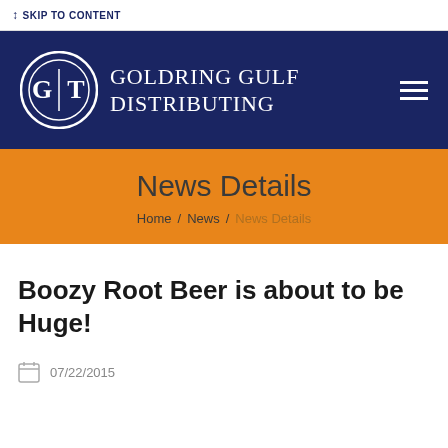↕ SKIP TO CONTENT
[Figure (logo): Goldring Gulf Distributing logo: circular emblem with GT initials inside concentric circles, white on navy, with company name in serif uppercase white text to the right]
News Details
Home / News / News Details
Boozy Root Beer is about to be Huge!
07/22/2015